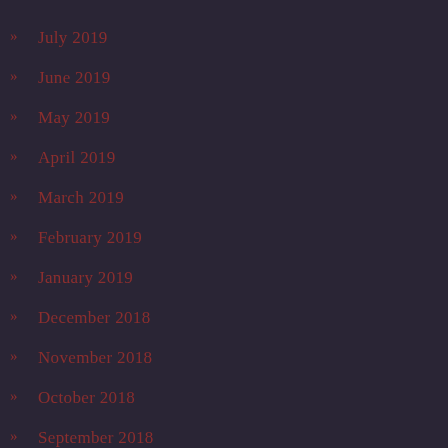» July 2019
» June 2019
» May 2019
» April 2019
» March 2019
» February 2019
» January 2019
» December 2018
» November 2018
» October 2018
» September 2018
» August 2018
» July 2018
» June 2018